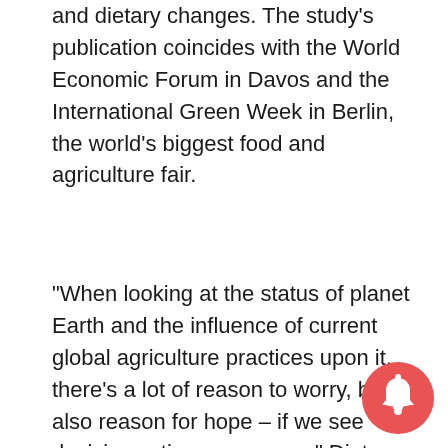and dietary changes. The study's publication coincides with the World Economic Forum in Davos and the International Green Week in Berlin, the world's biggest food and agriculture fair.
“When looking at the status of planet Earth and the influence of current global agriculture practices upon it, there’s a lot of reason to worry, but also reason for hope – if we see decisive actions very soon,” Dieter Gerten says, lead author from PIK and professor at Humboldt University of Berlin. “Currently, almost half of global food production relies on crossing Earth’s environmental boundaries. We appropriate too much land for crops and livestock, fertilize too heavily and irrigate too extensively. To solve this issue in the
[Figure (other): Notification bell icon, circular red/orange badge with white bell symbol, bottom-right corner]